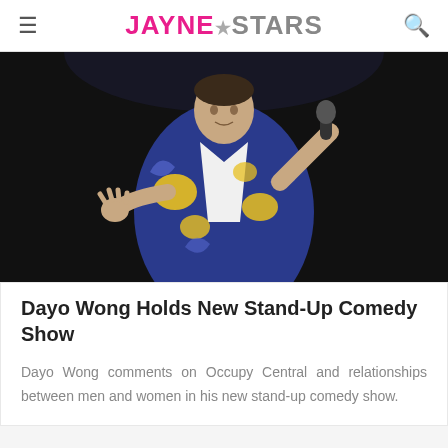JAYNE★STARS
[Figure (photo): Person in a blue floral jacket with yellow rose patterns holding a microphone on a dark stage]
Dayo Wong Holds New Stand-Up Comedy Show
Dayo Wong comments on Occupy Central and relationships between men and women in his new stand-up comedy show.